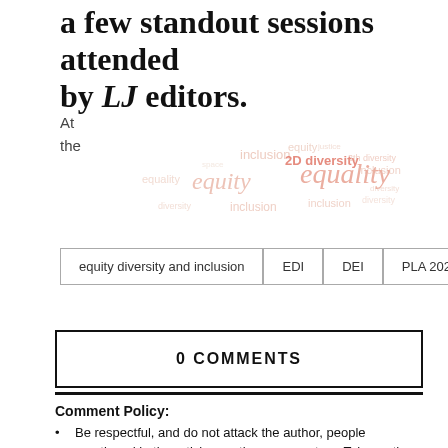a few standout sessions attended by LJ editors.
At
the
[Figure (infographic): Word cloud featuring terms: equality, equity, inclusion, diversity, DEI, EDI, 2D diversity, and related words in varying sizes and coral/salmon colors fading from center.]
| equity diversity and inclusion | EDI | DEI | PLA 2022 |
0 COMMENTS
Comment Policy:
Be respectful, and do not attack the author, people mentioned in the article, or other commenters. Take on the idea, not the messenger.